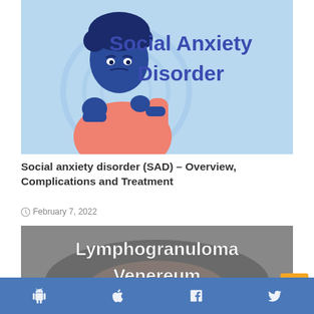[Figure (illustration): Illustration of a person with curly hair looking anxious, hands clasped near face, wearing a salmon/orange shirt on a light blue background. Bold blue text reads 'Social Anxiety Disorder' on the right side.]
Social anxiety disorder (SAD) – Overview, Complications and Treatment
February 7, 2022
[Figure (photo): Black and white close-up photo of a person's neck/throat area with white bold text overlay reading 'Lymphogranuloma Venereum']
Android  Apple  Facebook  Twitter